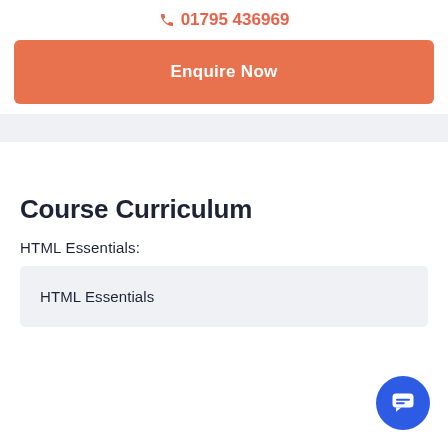📞 01795 436969
Enquire Now
Course Curriculum
HTML Essentials:
HTML Essentials